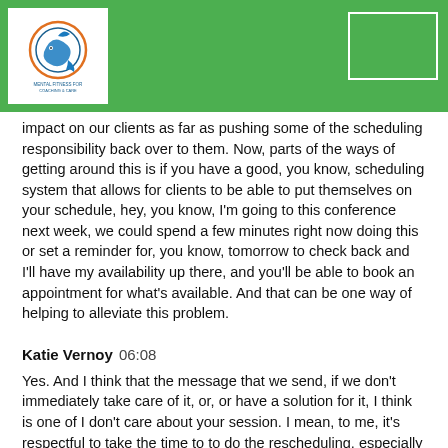impact on our clients as far as pushing some of the scheduling responsibility back over to them. Now, parts of the ways of getting around this is if you have a good, you know, scheduling system that allows for clients to be able to put themselves on your schedule, hey, you know, I'm going to this conference next week, we could spend a few minutes right now doing this or set a reminder for, you know, tomorrow to check back and I'll have my availability up there, and you'll be able to book an appointment for what's available. And that can be one way of helping to alleviate this problem.
Katie Vernoy  06:08
Yes. And I think that the message that we send, if we don't immediately take care of it, or, or have a solution for it, I think is one of I don't care about your session. I mean, to me, it's respectful to take the time to to do the rescheduling, especially if you've got a couple of minutes that aren't going to take away from clinical time. And I think the the message of I've got a few things to move around, and then I will get back to you and not